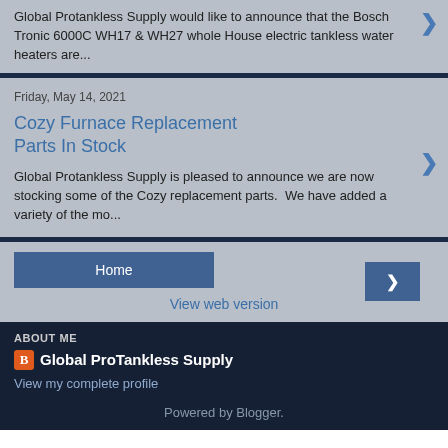Global Protankless Supply would like to announce that the Bosch Tronic 6000C WH17 & WH27 whole House electric tankless water heaters are...
Friday, May 14, 2021
Cozy Furnace Replacement Parts In Stock
Global Protankless Supply is pleased to announce we are now stocking some of the Cozy replacement parts.  We have added a variety of the mo...
Home
View web version
ABOUT ME
Global ProTankless Supply
View my complete profile
Powered by Blogger.